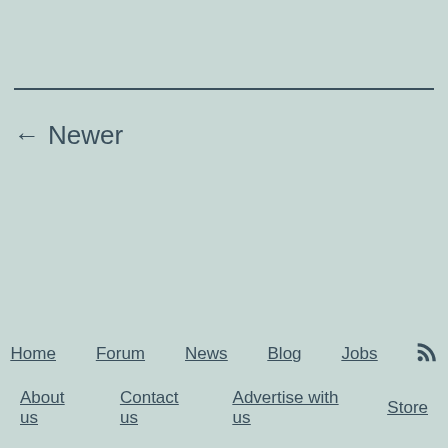← Newer
Home  Forum  News  Blog  Jobs  [RSS]  About us  Contact us  Advertise with us  Store